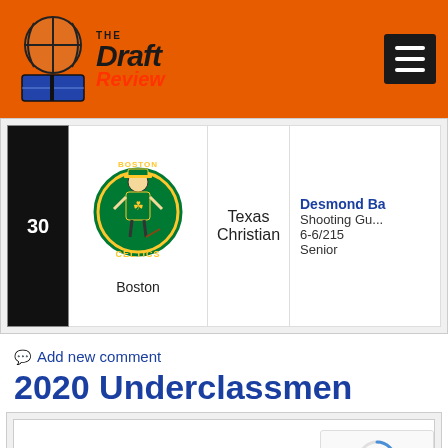The Draft Review
| Pick | Team | College | Player |
| --- | --- | --- | --- |
| 30 | Boston | Texas Christian | Desmond Ba...
Shooting Gu...
6-6/215
Senior |
Add new comment
2020 Underclassmen
[Figure (screenshot): 2020 Underclassmen table/content area beginning to load, with italic text '2020 Under...' visible]